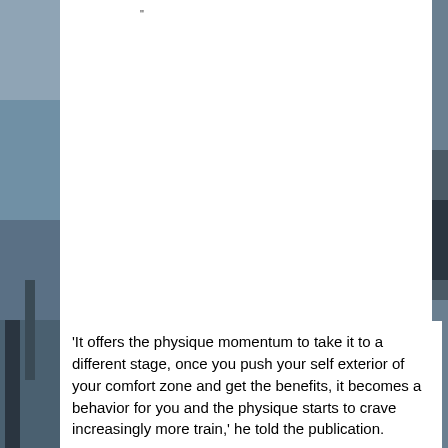[Figure (photo): Background photo showing a person in athletic/outdoor setting, partially visible on the left side and right edge of the page. A white rectangular overlay covers much of the center-right portion of the page.]
'It offers the physique momentum to take it to a different stage, once you push your self exterior of your comfort zone and get the benefits, it becomes a behavior for you and the physique starts to crave increasingly more train,' he told the publication.